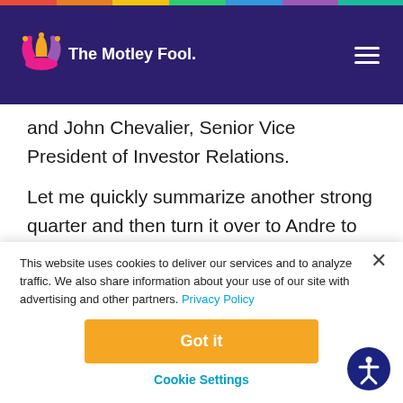The Motley Fool
and John Chevalier, Senior Vice President of Investor Relations.
Let me quickly summarize another strong quarter and then turn it over to Andre to provide additional perspective. Organic sales were up 4% on the
This website uses cookies to deliver our services and to analyze traffic. We also share information about your use of our site with advertising and other partners. Privacy Policy
Got it
Cookie Settings